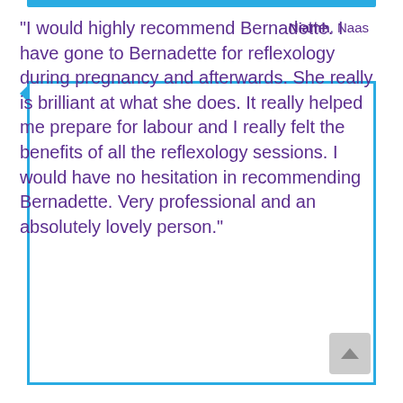- Niamh, Naas
"I would highly recommend Bernadette. I have gone to Bernadette for reflexology during pregnancy and afterwards. She really is brilliant at what she does. It really helped me prepare for labour and I really felt the benefits of all the reflexology sessions. I would have no hesitation in recommending Bernadette. Very professional and an absolutely lovely person."